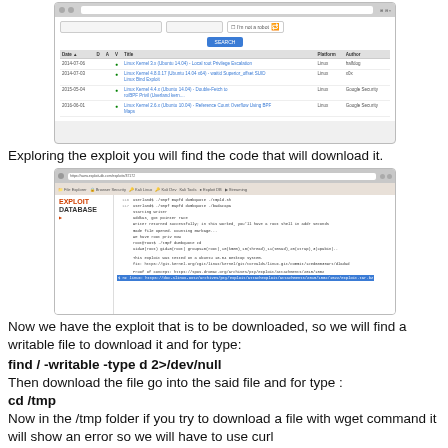[Figure (screenshot): Screenshot of exploit-db.com website showing search results for Linux kernel exploits with columns for Date, Title, Platform, and Author]
Exploring the exploit you will find the code that will download it.
[Figure (screenshot): Screenshot of Exploit Database website showing exploit code with terminal output including lines about wget, writing files, and proof of concept URLs]
Now we have the exploit that is to be downloaded, so we will find a writable file to download it and for type:
find / -writable -type d 2>/dev/null
Then download the file go into the said file and for type :
cd /tmp
Now in the /tmp folder if you try to download a file with wget command it will show an error so we will have to use curl